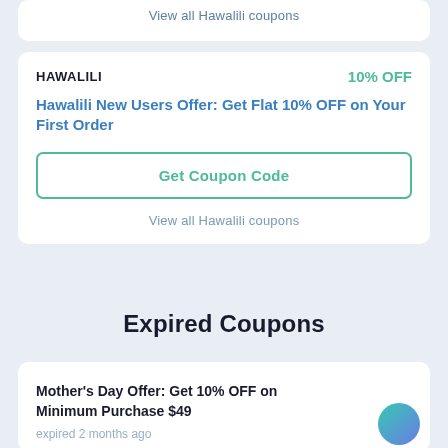View all Hawalili coupons
HAWALILI
10% OFF
Hawalili New Users Offer: Get Flat 10% OFF on Your First Order
Get Coupon Code
View all Hawalili coupons
Expired Coupons
Mother's Day Offer: Get 10% OFF on Minimum Purchase $49
expired 2 months ago